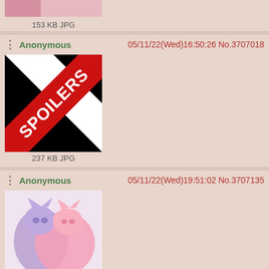[Figure (photo): Partial top of post showing thumbnail snippet, cropped at top]
153 KB JPG
Anonymous  05/11/22(Wed)16:50:26 No.3707018
[Figure (photo): Spoilers warning image - black and red diagonal banner with SPOILERS text]
237 KB JPG
Anonymous  05/11/22(Wed)19:51:02 No.3707135
[Figure (photo): Cartoon cat characters in pink and purple, hugging or close together]
95 KB JPG
Anonymous  05/11/22(Wed)19:51:35 No.3707136
[Figure (photo): Cartoon character partially visible, pink/purple tones, cropped at bottom]